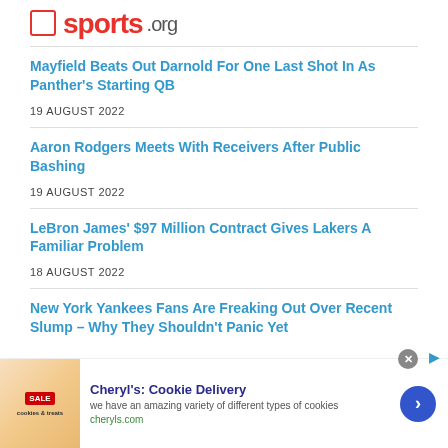sports.org
Mayfield Beats Out Darnold For One Last Shot In As Panther's Starting QB
19 AUGUST 2022
Aaron Rodgers Meets With Receivers After Public Bashing
19 AUGUST 2022
LeBron James' $97 Million Contract Gives Lakers A Familiar Problem
18 AUGUST 2022
New York Yankees Fans Are Freaking Out Over Recent Slump – Why They Shouldn't Panic Yet
[Figure (other): Advertisement banner for Cheryl's Cookie Delivery with cookie image, text 'we have an amazing variety of different types of cookies', URL cheryls.com, and a blue arrow button]